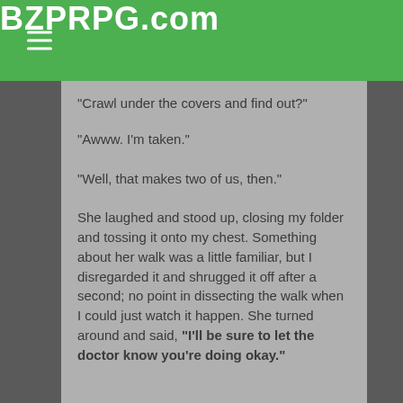BZPRPG.com
"Crawl under the covers and find out?"
"Awww. I'm taken."
"Well, that makes two of us, then."
She laughed and stood up, closing my folder and tossing it onto my chest. Something about her walk was a little familiar, but I disregarded it and shrugged it off after a second; no point in dissecting the walk when I could just watch it happen. She turned around and said, "I'll be sure to let the doctor know you're doing okay."